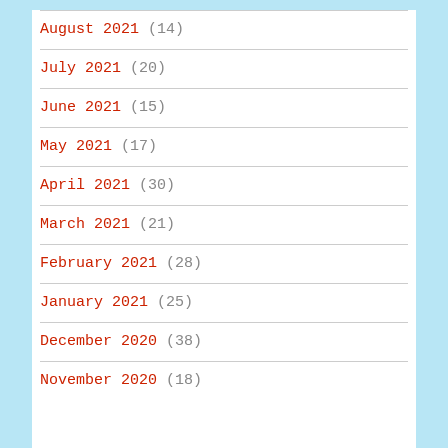August 2021 (14)
July 2021 (20)
June 2021 (15)
May 2021 (17)
April 2021 (30)
March 2021 (21)
February 2021 (28)
January 2021 (25)
December 2020 (38)
November 2020 (18)